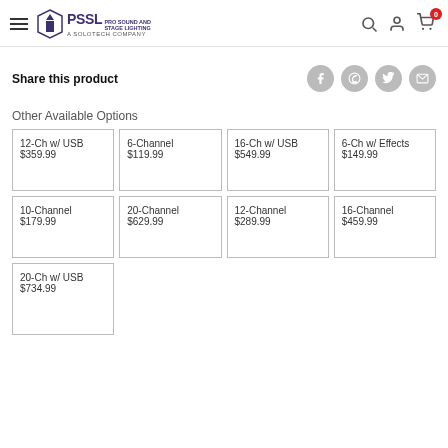PSSL Pro Sound and Stage Lighting - A Solotech Company
Share this product
Other Available Options
| Option | Price |
| --- | --- |
| 12-Ch w/ USB | $359.99 |
| 6-Channel | $119.99 |
| 16-Ch w/ USB | $549.99 |
| 6-Ch w/ Effects | $149.99 |
| 10-Channel | $179.99 |
| 20-Channel | $629.99 |
| 12-Channel | $289.99 |
| 16-Channel | $459.99 |
| 20-Ch w/ USB | $734.99 |